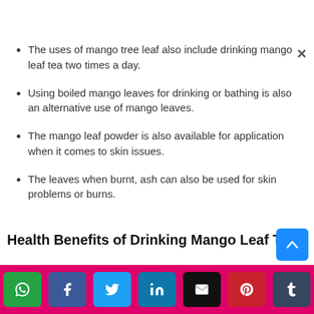The uses of mango tree leaf also include drinking mango leaf tea two times a day.
Using boiled mango leaves for drinking or bathing is also an alternative use of mango leaves.
The mango leaf powder is also available for application when it comes to skin issues.
The leaves when burnt, ash can also be used for skin problems or burns.
Health Benefits of Drinking Mango Leaf Tea:
The benefits of mango leaf tea include treating diabetes,